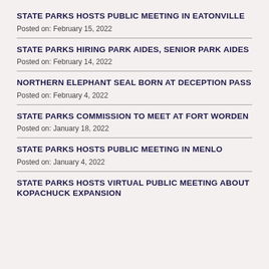STATE PARKS HOSTS PUBLIC MEETING IN EATONVILLE
Posted on: February 15, 2022
STATE PARKS HIRING PARK AIDES, SENIOR PARK AIDES
Posted on: February 14, 2022
NORTHERN ELEPHANT SEAL BORN AT DECEPTION PASS
Posted on: February 4, 2022
STATE PARKS COMMISSION TO MEET AT FORT WORDEN
Posted on: January 18, 2022
STATE PARKS HOSTS PUBLIC MEETING IN MENLO
Posted on: January 4, 2022
STATE PARKS HOSTS VIRTUAL PUBLIC MEETING ABOUT KOPACHUCK EXPANSION